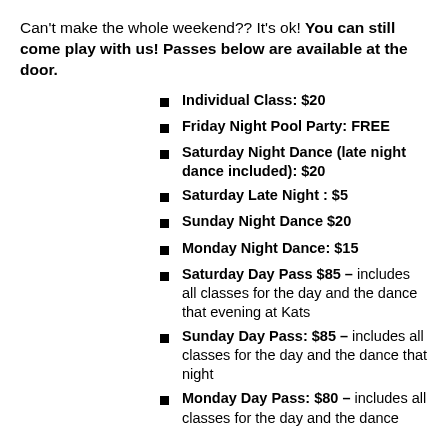Can't make the whole weekend?? It's ok! You can still come play with us! Passes below are available at the door.
Individual Class: $20
Friday Night Pool Party: FREE
Saturday Night Dance (late night dance included): $20
Saturday Late Night : $5
Sunday Night Dance $20
Monday Night Dance: $15
Saturday Day Pass $85 – includes all classes for the day and the dance that evening at Kats
Sunday Day Pass: $85 – includes all classes for the day and the dance that night
Monday Day Pass: $80 – includes all classes for the day and the dance